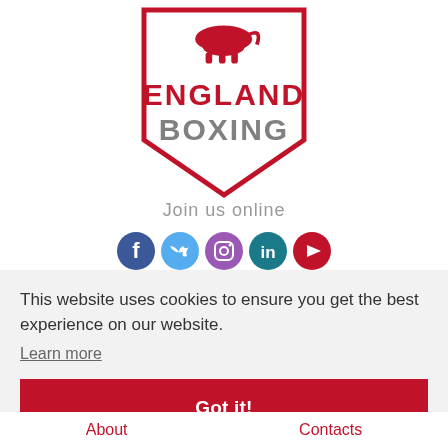[Figure (logo): England Boxing logo: red shield outline with a lion above, 'ENGLAND' in red text and 'BOXING' in gray text]
Join us online
[Figure (illustration): Row of 5 social media icons: Facebook (dark blue), Twitter (light blue), Instagram (purple/pink), LinkedIn (teal), YouTube (red)]
This website uses cookies to ensure you get the best experience on our website.
Learn more
Got it!
About   Contacts